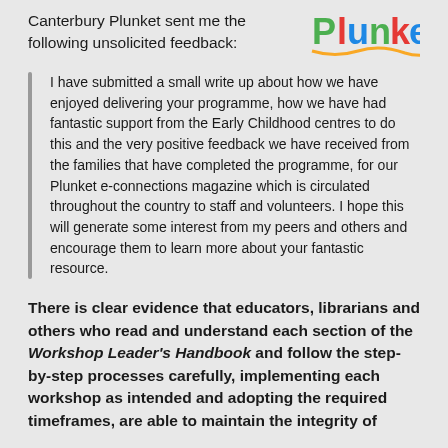Canterbury Plunket sent me the following unsolicited feedback:
[Figure (logo): Plunket logo with colorful letters in green, red, blue, and yellow]
I have submitted a small write up about how we have enjoyed delivering your programme, how we have had fantastic support from the Early Childhood centres to do this and the very positive feedback we have received from the families that have completed the programme, for our Plunket e-connections magazine which is circulated throughout the country to staff and volunteers. I hope this will generate some interest from my peers and others and encourage them to learn more about your fantastic resource.
There is clear evidence that educators, librarians and others who read and understand each section of the Workshop Leader's Handbook and follow the step-by-step processes carefully, implementing each workshop as intended and adopting the required timeframes, are able to maintain the integrity of